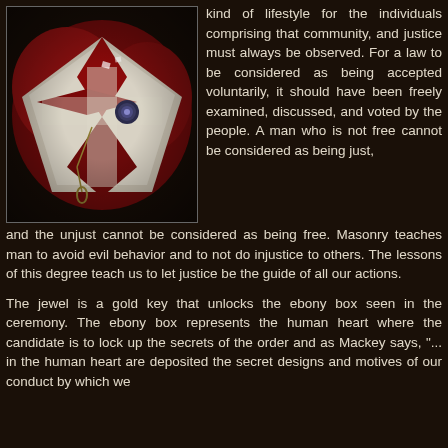[Figure (photo): Dark oil painting depicting Masonic regalia including a white cloth, red fabric, a key on a chain, and a decorative brooch or jewel.]
kind of lifestyle for the individuals comprising that community, and justice must always be observed. For a law to be considered as being accepted voluntarily, it should have been freely examined, discussed, and voted by the people. A man who is not free cannot be considered as being just, and the unjust cannot be considered as being free. Masonry teaches man to avoid evil behavior and to not do injustice to others. The lessons of this degree teach us to let justice be the guide of all our actions.
The jewel is a gold key that unlocks the ebony box seen in the ceremony. The ebony box represents the human heart where the candidate is to lock up the secrets of the order and as Mackey says, "... in the human heart are deposited the secret designs and motives of our conduct by which we